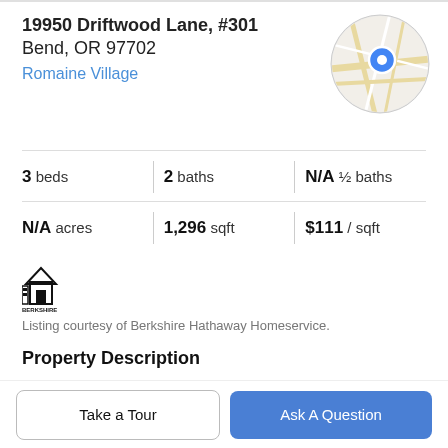19950 Driftwood Lane, #301
Bend, OR 97702
Romaine Village
[Figure (map): Circular map thumbnail with a blue location pin marker showing the property location]
| Attribute | Value |
| --- | --- |
| beds | 3 |
| baths | 2 |
| ½ baths | N/A |
| acres | N/A |
| sqft | 1,296 |
| price/sqft | $111 |
[Figure (logo): Berkshire Hathaway HomeServices brokerage logo showing a house icon]
Listing courtesy of Berkshire Hathaway Homeservice.
Property Description
Cute, newer double-wide manufactured home in Southwest Bend. This home sits in a quiet, peaceful, treed area of Romaine Village. Come check out this terrific